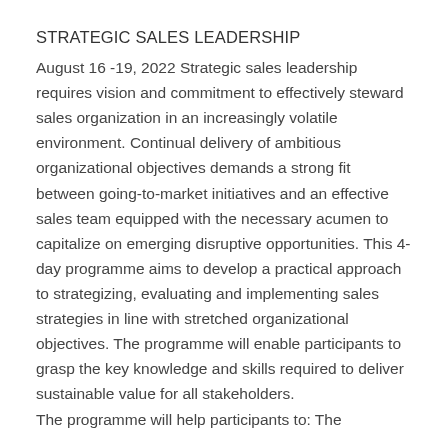STRATEGIC SALES LEADERSHIP
August 16 -19, 2022 Strategic sales leadership requires vision and commitment to effectively steward sales organization in an increasingly volatile environment. Continual delivery of ambitious organizational objectives demands a strong fit between going-to-market initiatives and an effective sales team equipped with the necessary acumen to capitalize on emerging disruptive opportunities. This 4-day programme aims to develop a practical approach to strategizing, evaluating and implementing sales strategies in line with stretched organizational objectives. The programme will enable participants to grasp the key knowledge and skills required to deliver sustainable value for all stakeholders.
The programme will help participants to: The